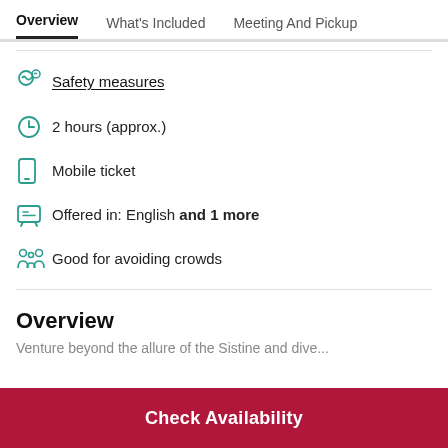Overview   What's Included   Meeting And Pickup
Safety measures
2 hours (approx.)
Mobile ticket
Offered in: English and 1 more
Good for avoiding crowds
Overview
Venture beyond the allure of the Sistine and dive...